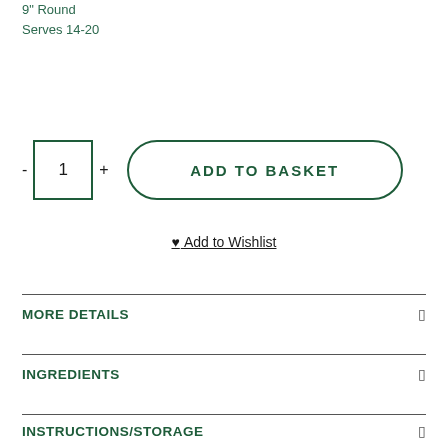9" Round
Serves 14-20
- 1 +
ADD TO BASKET
♥ Add to Wishlist
MORE DETAILS
INGREDIENTS
INSTRUCTIONS/STORAGE